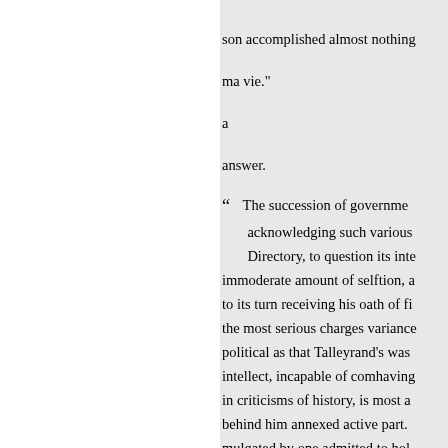son accomplished almost nothing
ma vie."
a
answer.
“ The succession of governments acknowledging such various Directory, to question its inte immoderate amount of selftion, a to its turn receiving his oath of fi the most serious charges variance political as that Talleyrand's was intellect, incapable of comhaving in criticisms of history, is most a behind him annexed active part. mulgated by one admitted to hol letters, or by one who, every min and advocates, who, if they do n indications of a rience whereon t